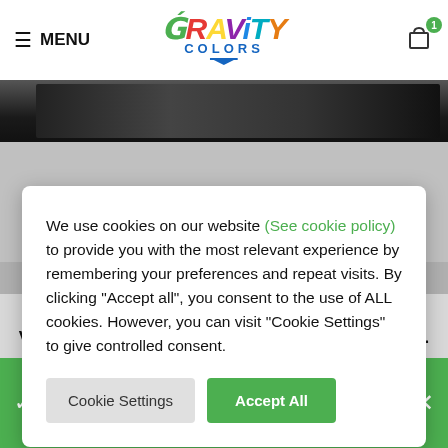≡ MENU | GRAVITY COLORS | Cart (1)
[Figure (screenshot): Dark gradient image strip showing partial car/product image]
We use cookies on our website (See cookie policy) to provide you with the most relevant experience by remembering your preferences and repeat visits. By clicking "Accept all", you consent to the use of ALL cookies. However, you can visit "Cookie Settings" to give controlled consent.
Cookie Settings | Accept All
Volkswagen dark pearl blue color used by Volkswagen Motorsport for the livery of Polo WRC.
VIEW BASKET
"Volkswagen Pure White" has been added to your basket.